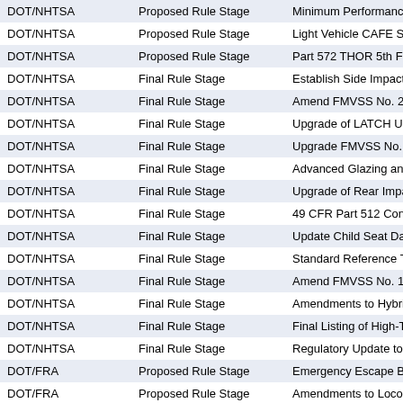| Agency | Stage | Title |
| --- | --- | --- |
| DOT/NHTSA | Proposed Rule Stage | Minimum Performance S... |
| DOT/NHTSA | Proposed Rule Stage | Light Vehicle CAFE Sta... |
| DOT/NHTSA | Proposed Rule Stage | Part 572 THOR 5th Fem... |
| DOT/NHTSA | Final Rule Stage | Establish Side Impact P... |
| DOT/NHTSA | Final Rule Stage | Amend FMVSS No. 210... |
| DOT/NHTSA | Final Rule Stage | Upgrade of LATCH Usab... |
| DOT/NHTSA | Final Rule Stage | Upgrade FMVSS No. 21... |
| DOT/NHTSA | Final Rule Stage | Advanced Glazing and A... |
| DOT/NHTSA | Final Rule Stage | Upgrade of Rear Impact... |
| DOT/NHTSA | Final Rule Stage | 49 CFR Part 512 Confid... |
| DOT/NHTSA | Final Rule Stage | Update Child Seat Data... |
| DOT/NHTSA | Final Rule Stage | Standard Reference Tes... |
| DOT/NHTSA | Final Rule Stage | Amend FMVSS No. 141... |
| DOT/NHTSA | Final Rule Stage | Amendments to Hybrid E... |
| DOT/NHTSA | Final Rule Stage | Final Listing of High-The... |
| DOT/NHTSA | Final Rule Stage | Regulatory Update to Tr... |
| DOT/FRA | Proposed Rule Stage | Emergency Escape Brea... |
| DOT/FRA | Proposed Rule Stage | Amendments to Locomo... |
| DOT/FRA | Proposed Rule Stage | Miscellaneous Amendm... |
| DOT/FRA | Proposed Rule Stage | Amendments to the Frei... |
| DOT/FRA | Proposed Rule Stage | Railroad Noise Emission... |
| DOT/FRA | Proposed Rule Stage | Training, Qualification, a... |